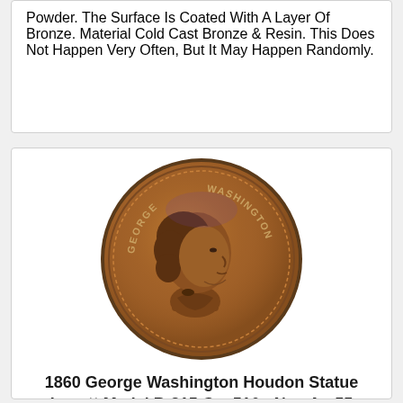Powder. The Surface Is Coated With A Layer Of Bronze. Material Cold Cast Bronze & Resin. This Does Not Happen Very Often, But It May Happen Randomly.
[Figure (photo): Bronze coin showing profile portrait of George Washington facing right, with text 'GEORGE WASHINGTON' around the rim, copper-toned medal in an NGC holder.]
1860 George Washington Houdon Statue Lovett Medal B-315 Gw-516 - Ngc Au 55